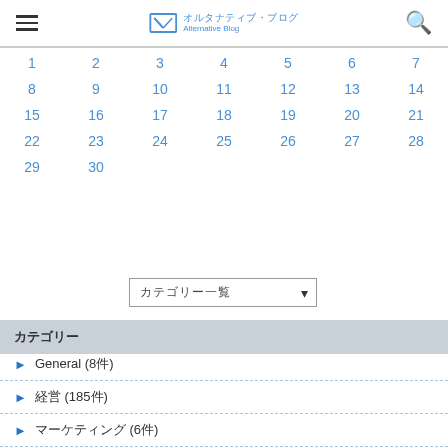オルタナティブ・ブログ Alternative Blog
| 1 | 2 | 3 | 4 | 5 | 6 | 7 |
| 8 | 9 | 10 | 11 | 12 | 13 | 14 |
| 15 | 16 | 17 | 18 | 19 | 20 | 21 |
| 22 | 23 | 24 | 25 | 26 | 27 | 28 |
| 29 | 30 |  |  |  |  |  |
カテゴリー一覧 (dropdown)
カテゴリー
General (8件)
経営 (185件)
マーケティング (6件)
ストラテジー (17件)
テクノロジー (6件)
キャリア (122件)
仕事 (54件)